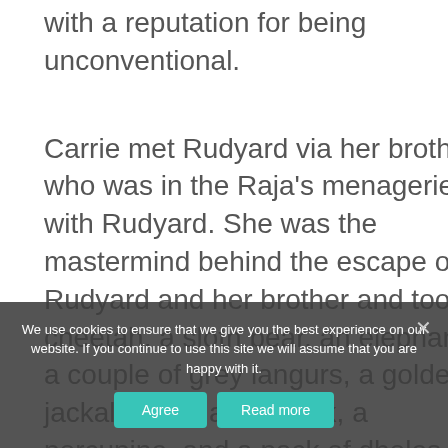with a reputation for being unconventional.
Carrie met Rudyard via her brother, who was in the Raja's menagerie with Rudyard. She was the mastermind behind the escape of Rudyard and her brother and took a cheetah, a sloth bear, an elephant, a couple of grey langurs, a golden jackal, a bat, a peacock, a porcupine, and a pack of dholes with her in the process. And after she led everyone out of the menagerie safely, she
We use cookies to ensure that we give you the best experience on our website. If you continue to use this site we will assume that you are happy with it.